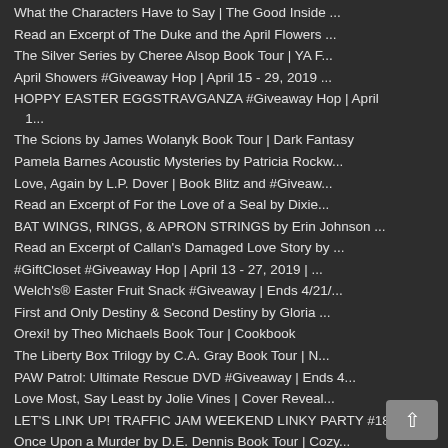What the Characters Have to Say | The Good Inside ...
Read an Excerpt of The Duke and the April Flowers ...
The Silver Series by Cheree Alsop Book Tour | YA F...
April Showers #Giveaway Hop | April 15 - 29, 2019 ...
HOPPY EASTER EGGSTRAVGANZA #Giveaway Hop | April 1...
The Scions by James Wolanyk Book Tour | Dark Fantasy
Pamela Barnes Acoustic Mysteries by Patricia Rockw...
Love, Again by L.P. Dover | Book Blitz and #Giveaw...
Read an Excerpt of For the Love of a Seal by Dixie...
BAT WINGS, RINGS, & APRON STRINGS by Erin Johnson ...
Read an Excerpt of Callan's Damaged Love Story by ...
#GiftCloset #Giveaway Hop | April 13 - 27, 2019 | ...
Welch's® Easter Fruit Snack #Giveaway | Ends 4/21/...
First and Only Destiny & Second Destiny by Gloria ...
Orexi! by Theo Michaels Book Tour | Cookbook
The Liberty Box Trilogy by C.A. Gray Book Tour | N...
PAW Patrol: Ultimate Rescue DVD #Giveaway | Ends 4...
Love Most, Say Least by Jolie Vines | Cover Reveal...
LET'S LINK UP! TRAFFIC JAM WEEKEND LINKY PARTY #18...
Once Upon a Murder by D.E. Dennis Book Tour | Cozy...
Calendar Men Series Book Tour | Romance
► March (163)
► February (171)
► January (132)
► 2018 (1190)
► 2017 (478)
► 2016 (272)